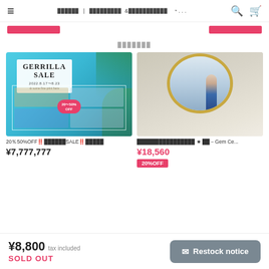≡  ██████ | █████████ &███████████  *...  🔍  🛒
[Figure (screenshot): Two pink/red navigation buttons]
███████
[Figure (photo): Gerrilla Sale promotional image: 2022.8.17~8.23, teal background with jewelry items, 20%-50% OFF badge]
20％50%OFF!!██████SALE!!█████
¥7,777,777
[Figure (photo): Gold mirror frame with figure in blue dress reflected]
████████████████ ★ ██－Gem Ce...
¥18,560
20%OFF
¥8,800 tax included
SOLD OUT
✉ Restock notice